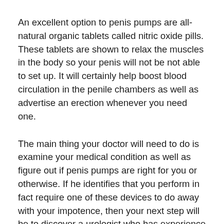An excellent option to penis pumps are all-natural organic tablets called nitric oxide pills. These tablets are shown to relax the muscles in the body so your penis will not be not able to set up. It will certainly help boost blood circulation in the penile chambers as well as advertise an erection whenever you need one.
The main thing your doctor will need to do is examine your medical condition as well as figure out if penis pumps are right for you or otherwise. If he identifies that you perform in fact require one of these devices to do away with your impotence, then your next step will be to discover a urologist who has experience executing the treatment. Your